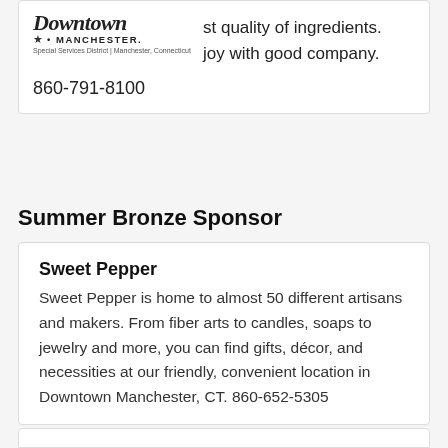[Figure (logo): Downtown Manchester Special Services District logo with stylized cursive text and stars]
st quality of ingredients.
joy with good company.
860-791-8100
Summer Bronze Sponsor
Sweet Pepper
Sweet Pepper is home to almost 50 different artisans and makers.  From fiber arts to candles, soaps to jewelry and more, you can find gifts, décor, and necessities at our friendly, convenient location in Downtown Manchester, CT. 860-652-5305